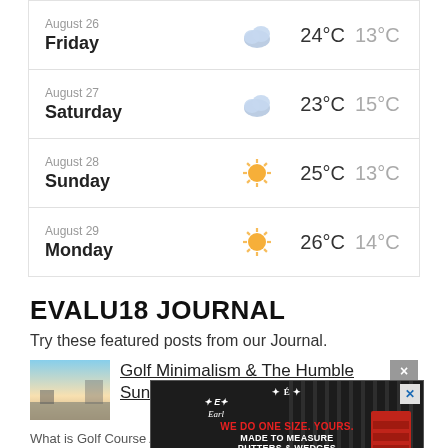| Date | Day | Icon | High | Low |
| --- | --- | --- | --- | --- |
| August 26 | Friday | cloud | 24°C | 13°C |
| August 27 | Saturday | cloud | 23°C | 15°C |
| August 28 | Sunday | sun | 25°C | 13°C |
| August 29 | Monday | sun | 26°C | 14°C |
EVALU18 JOURNAL
Try these featured posts from our Journal.
Golf Minimalism & The Humble Sunday Bag
[Figure (photo): Thumbnail image for Golf Minimalism article - outdoor landscape]
[Figure (screenshot): Advertisement for ThePutterTailor.com - WE DO ONE SIZE. YOURS. MADE TO MEASURE PUTTERS & WEDGES]
What is Golf Course Architecture? The answer may...